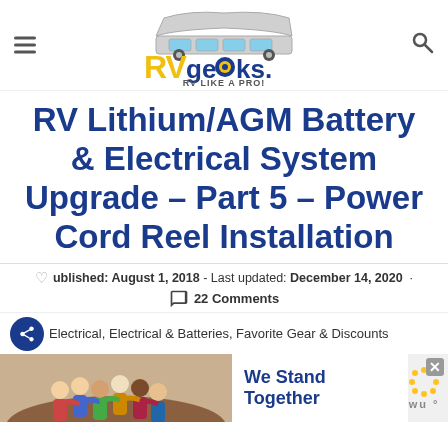RVgeeks - RV Like A Pro!
RV Lithium/AGM Battery & Electrical System Upgrade – Part 5 – Power Cord Reel Installation
Published: August 1, 2018 - Last updated: December 14, 2020 · 22 Comments
Electrical, Electrical & Batteries, Favorite Gear & Discounts
[Figure (advertisement): Ad banner showing group of people from behind, text 'We Stand Together' on white background with Walmart logo dots]